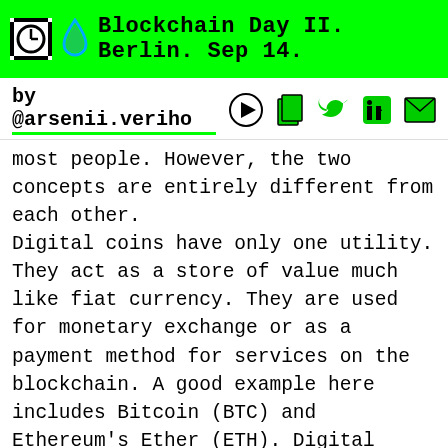Blockchain Day II. Berlin. Sep 14.
by @arsenii.veriho
most people. However, the two concepts are entirely different from each other. Digital coins have only one utility. They act as a store of value much like fiat currency. They are used for monetary exchange or as a payment method for services on the blockchain. A good example here includes Bitcoin (BTC) and Ethereum's Ether (ETH). Digital coins have their own blockchain. On the other hand, tokens store complex levels of value such as property, income and utility. Simply put, they represent ownership a particular asset such as company stock. Tokens are hosted on secondary blockchains like Ethereum. They are usually issued